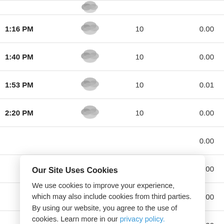| Time | Icon | Value1 | Value2 |
| --- | --- | --- | --- |
| 1:16 PM | [weather icon] | 10 | 0.00 |
| 1:40 PM | [weather icon] | 10 | 0.00 |
| 1:53 PM | [weather icon] | 10 | 0.01 |
| 2:20 PM | [weather icon] | 10 | 0.00 |
|  |  |  | 0.00 |
|  |  |  | 0.00 |
|  |  |  | 0.00 |
|  |  |  | 0.00 |
Our Site Uses Cookies
We use cookies to improve your experience, which may also include cookies from third parties. By using our website, you agree to the use of cookies. Learn more in our privacy policy.